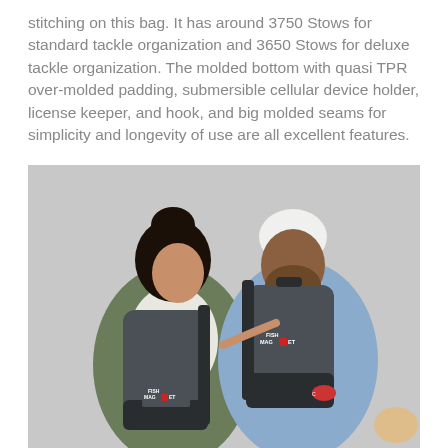stitching on this bag. It has around 3750 Stows for standard tackle organization and 3650 Stows for deluxe tackle organization. The molded bottom with quasi TPR over-molded padding, submersible cellular device holder, license keeper, and hook, and big molded seams for simplicity and longevity of use are all excellent features.
[Figure (photo): Two people standing with their backs turned, each wearing a dark grey Champion backpack with a 'Fish Magnet' logo embroidered on it. The woman on the left has dark hair in a bun and wears a green jacket with a white hoodie underneath. The man on the right wears a white beanie and a light blue denim jacket. Background is light grey.]